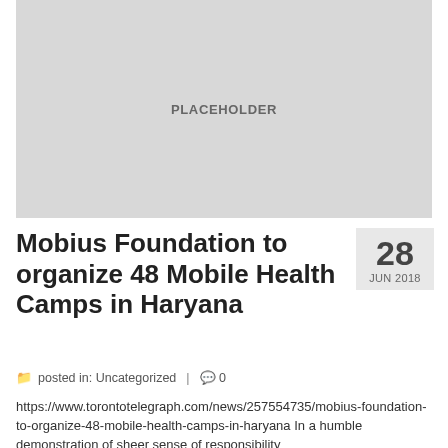[Figure (photo): Placeholder image box with light gray background and 'PLACEHOLDER' text in bold gray letters]
Mobius Foundation to organize 48 Mobile Health Camps in Haryana
28
JUN 2018
posted in: Uncategorized  |  0
https://www.torontotelegraph.com/news/257554735/mobius-foundation-to-organize-48-mobile-health-camps-in-haryana
In a humble demonstration of sheer sense of responsibility